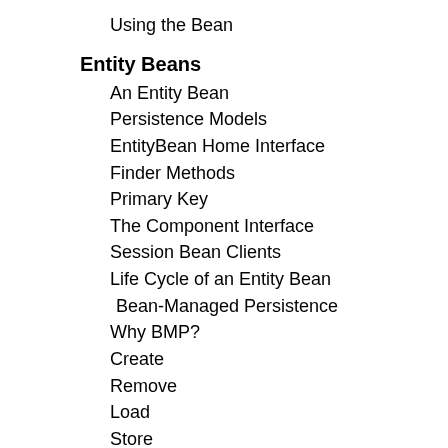Using the Bean
Entity Beans
An Entity Bean
Persistence Models
EntityBean Home Interface
Finder Methods
Primary Key
The Component Interface
Session Bean Clients
Life Cycle of an Entity Bean
Bean-Managed Persistence
Why BMP?
Create
Remove
Load
Store
EjbFindByPrimaryKey and other Finder Methods
DBObjects
Container Managed Persistence